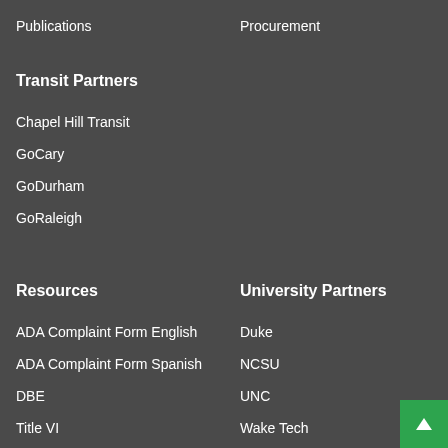Publications
Procurement
Transit Partners
Chapel Hill Transit
GoCary
GoDurham
GoRaleigh
Resources
University Partners
ADA Complaint Form English
Duke
ADA Complaint Form Spanish
NCSU
DBE
UNC
Title VI
Wake Tech
Vehicle Rental Taxes